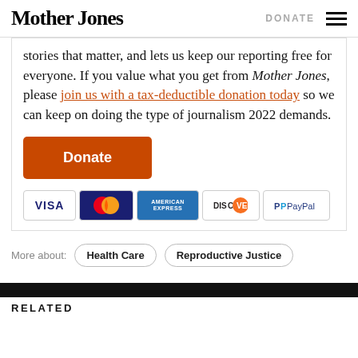Mother Jones | DONATE
stories that matter, and lets us keep our reporting free for everyone. If you value what you get from Mother Jones, please join us with a tax-deductible donation today so we can keep on doing the type of journalism 2022 demands.
[Figure (other): Orange 'Donate' button followed by payment method icons: VISA, MasterCard, American Express, Discover, PayPal]
More about: Health Care | Reproductive Justice
RELATED